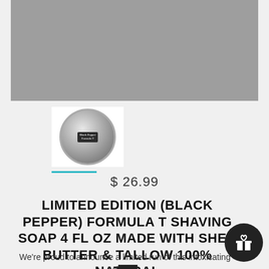[Figure (photo): Main product image placeholder - gray background]
[Figure (photo): Thumbnail of shaving soap tin - circular metal tin with label]
$ 26.99
LIMITED EDITION (BLACK PEPPER) FORMULA T SHAVING SOAP 4 FL OZ MADE WITH SHEA BUTTER & TALLOW 100% NATURA...
We're proud to announce a limited run of this intoxicating classic fragrance in our fan-favorite Formula T.